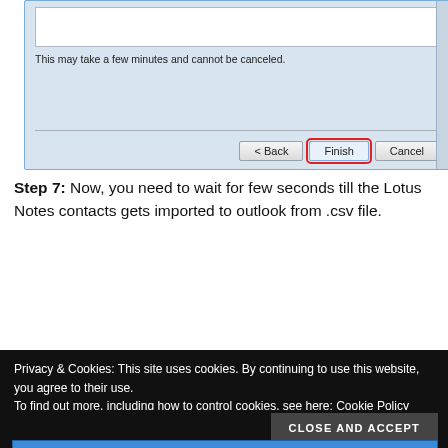[Figure (screenshot): Dialog window showing a wizard step with a white input area, text 'This may take a few minutes and cannot be canceled.', and three buttons: < Back, Finish (highlighted with red outline), and Cancel.]
Step 7: Now, you need to wait for few seconds till the Lotus Notes contacts gets imported to outlook from .csv file.
[Figure (screenshot): Import and Export Progress dialog window showing a progress bar area.]
Privacy & Cookies: This site uses cookies. By continuing to use this website, you agree to their use.
To find out more, including how to control cookies, see here: Cookie Policy
CLOSE AND ACCEPT